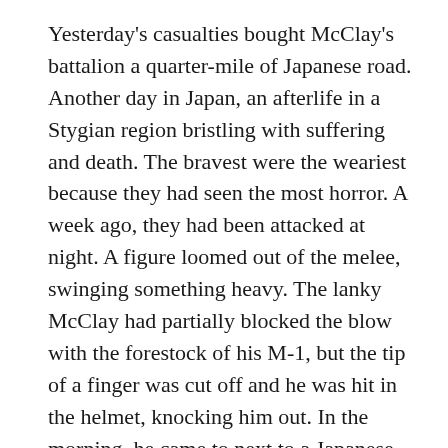Yesterday's casualties bought McClay's battalion a quarter-mile of Japanese road. Another day in Japan, an afterlife in a Stygian region bristling with suffering and death. The bravest were the weariest because they had seen the most horror. A week ago, they had been attacked at night. A figure loomed out of the melee, swinging something heavy. The lanky McClay had partially blocked the blow with the forestock of his M-1, but the tip of a finger was cut off and he was hit in the helmet, knocking him out. In the morning, he came to next to a Japanese officer on his back in his dress uniform. Polished riding boots with leather leggings, shiny Sam Brown belt and bloody white gloves, still clutching his samurai sword. His skull had been blown off above the nose, and flies were feasting on the mushy